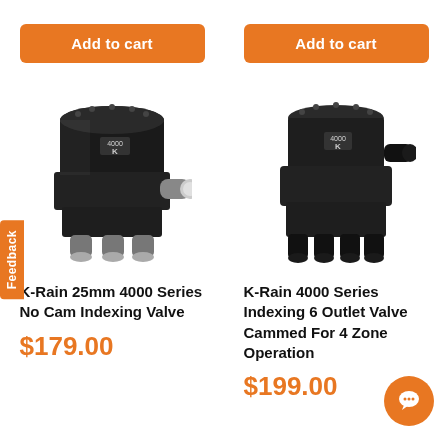[Figure (illustration): Orange 'Add to cart' button for left product]
[Figure (illustration): Orange 'Add to cart' button for right product]
[Figure (photo): K-Rain 25mm 4000 Series No Cam Indexing Valve - black plastic valve with white fittings]
[Figure (photo): K-Rain 4000 Series Indexing 6 Outlet Valve Cammed For 4 Zone Operation - black plastic valve]
K-Rain 25mm 4000 Series No Cam Indexing Valve
K-Rain 4000 Series Indexing 6 Outlet Valve Cammed For 4 Zone Operation
$179.00
$199.00